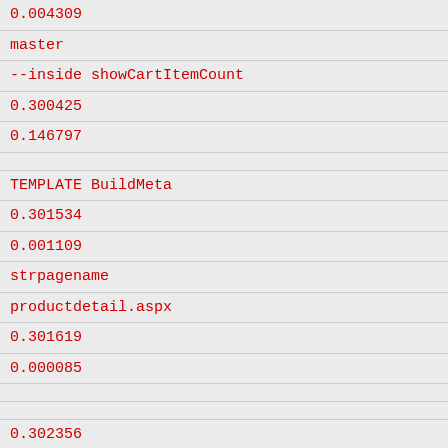0.004309
master
--inside showCartItemCount
0.300425
0.146797
TEMPLATE BuildMeta
0.301534
0.001109
strpagename
productdetail.aspx
0.301619
0.000085
0.302356
0.000737